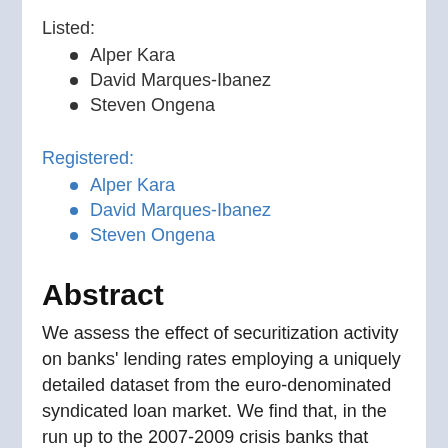Listed:
Alper Kara
David Marques-Ibanez
Steven Ongena
Registered:
Alper Kara
David Marques-Ibanez
Steven Ongena
Abstract
We assess the effect of securitization activity on banks' lending rates employing a uniquely detailed dataset from the euro-denominated syndicated loan market. We find that, in the run up to the 2007-2009 crisis banks that were more active at originating asset-backed securities did not price their loans